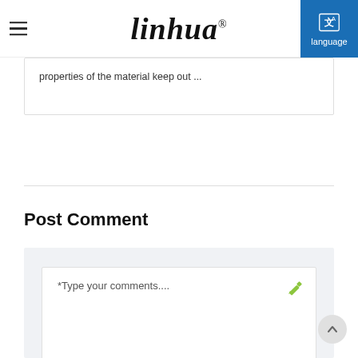linhua® language
properties of the material keep out ...
Post Comment
*Type your comments....